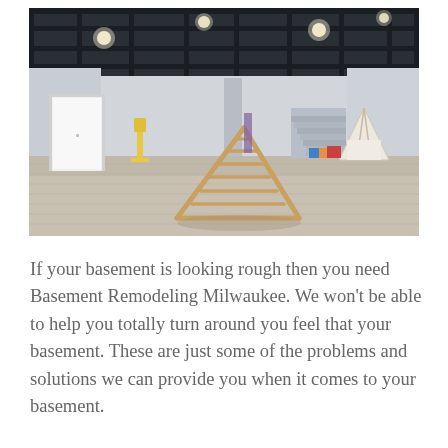[Figure (photo): Interior photo of a finished basement playroom with dark exposed ceiling beams and recessed lighting, light gray/beige carpet flooring, light gray painted walls, a white door on the left, a wooden triangular climbing frame (pikler triangle) in the center, a yellow basketball hoop stand, a teepee tent and toys on the right side, and stairs visible in the background.]
If your basement is looking rough then you need Basement Remodeling Milwaukee. We won't be able to help you totally turn around you feel that your basement. These are just some of the problems and solutions we can provide you when it comes to your basement.